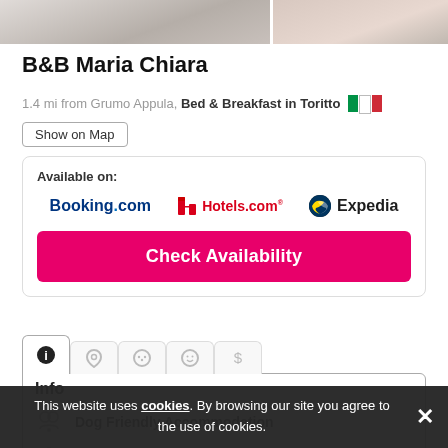[Figure (photo): Two hotel room photos side by side at top of page]
B&B Maria Chiara
1.4 mi from Grumo Appula, Bed & Breakfast in Toritto 🇮🇹
Show on Map
Available on: Booking.com  Hotels.com  Expedia
Check Availability
Info
Dog Friendly Accommodation
Accessible Accommodation
Categories
This website uses cookies. By browsing our site you agree to the use of cookies.